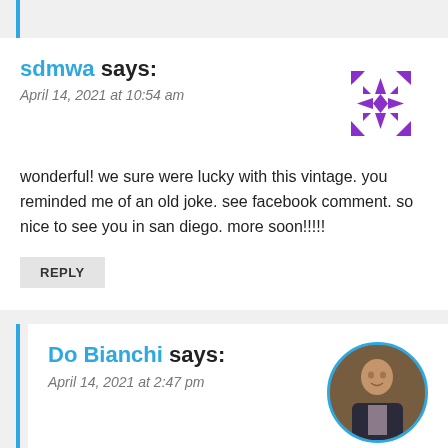sdmwa says: April 14, 2021 at 10:54 am
wonderful! we sure were lucky with this vintage. you reminded me of an old joke. see facebook comment. so nice to see you in san diego. more soon!!!!!
REPLY
Do Bianchi says: April 14, 2021 at 2:47 pm
Super fun to reconnect and great to